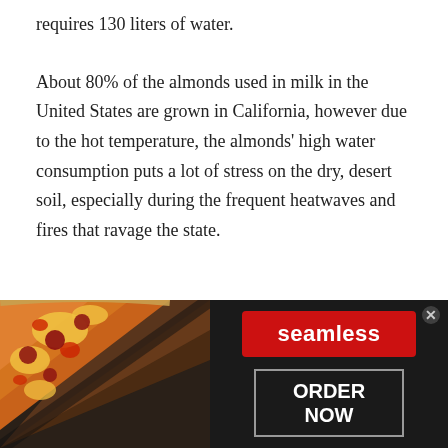requires 130 liters of water.
About 80% of the almonds used in milk in the United States are grown in California, however due to the hot temperature, the almonds' high water consumption puts a lot of stress on the dry, desert soil, especially during the frequent heatwaves and fires that ravage the state.
What role do bees play in this? All those almond trees need to be pollinated! The burden of the bees increases
[Figure (other): Seamless food delivery advertisement banner showing pizza image on left, red 'seamless' button in center, and dark 'ORDER NOW' button on right, with a close X button]